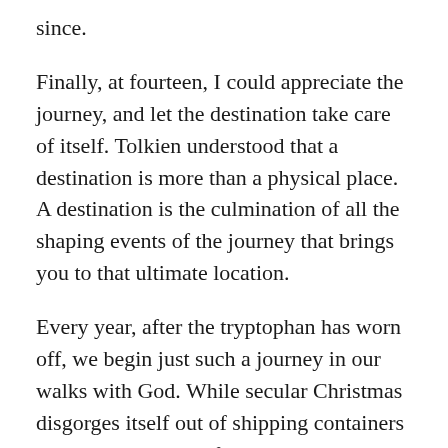since.
Finally, at fourteen, I could appreciate the journey, and let the destination take care of itself. Tolkien understood that a destination is more than a physical place. A destination is the culmination of all the shaping events of the journey that brings you to that ultimate location.
Every year, after the tryptophan has worn off, we begin just such a journey in our walks with God. While secular Christmas disgorges itself out of shipping containers every year the day after Thanksgiving, we have the opportunity to let Christmas happen only after the four weeks of Advent have run their course. Christmas is the destination. And Advent is about not arriving at your destination before you are shaped by